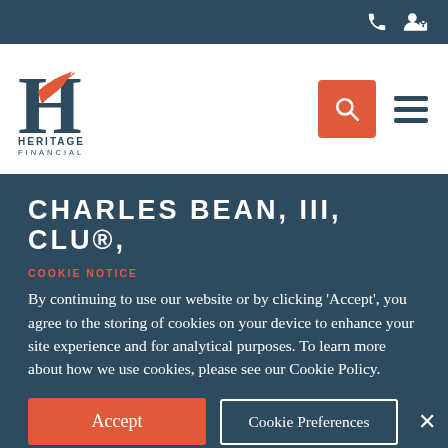Heritage Financial website header with phone and user account icons
[Figure (logo): Heritage Financial logo with large H, red feather, and text HERITAGE FINANCIAL below]
CHARLES BEAN, III, CLU®,
COOKIE NOTICE
By continuing to use our website or by clicking 'Accept', you agree to the storing of cookies on your device to enhance your site experience and for analytical purposes. To learn more about how we use cookies, please see our Cookie Policy.
Accept | Cookie Preferences | ×